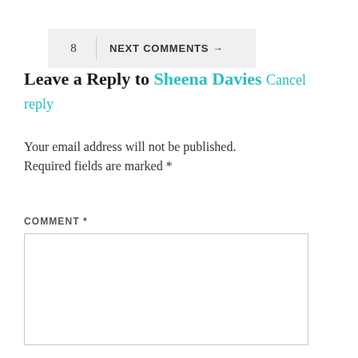8   NEXT COMMENTS →
Leave a Reply to Sheena Davies Cancel reply
Your email address will not be published. Required fields are marked *
COMMENT *
[Figure (other): Empty comment text area input box]